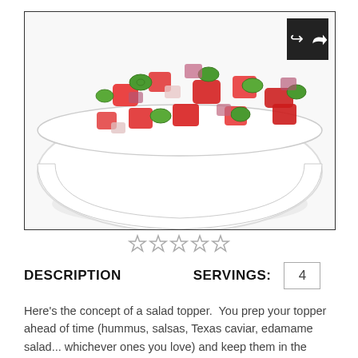[Figure (photo): A white bowl filled with a colorful salsa or salad topper consisting of diced red tomatoes, sliced green jalapeños, chopped red onion, and other vegetables on a white background. A black share button with an arrow icon is in the upper right corner of the image frame.]
[Figure (other): Five empty/outline star rating icons in a row, indicating a rating widget with no stars selected.]
DESCRIPTION   SERVINGS: 4
Here's the concept of a salad topper.  You prep your topper ahead of time (hummus, salsas, Texas caviar, edamame salad... whichever ones you love) and keep them in the fridge. Then, any time you make a salad, just throw together a giant